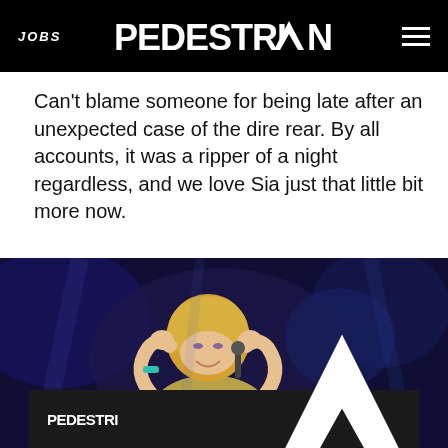JOBS | PEDESTRIAN | [menu]
Can't blame someone for being late after an unexpected case of the dire rear. By all accounts, it was a ripper of a night regardless, and we love Sia just that little bit more now.
[Figure (photo): Concert photo of Sia performing on stage, making a heart shape with her hands, holding a microphone, wearing a colourful patterned top, with blue stage lighting in background.]
[Figure (infographic): Pedestrian Daily ad banner — 'PEDESTRIAN DAILY Only on Spotify' with Spotify logo, on dark background.]